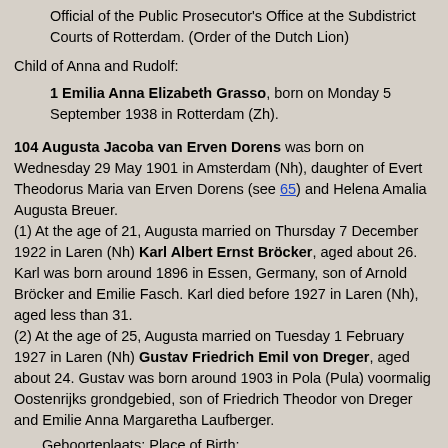Official of the Public Prosecutor's Office at the Subdistrict Courts of Rotterdam. (Order of the Dutch Lion)
Child of Anna and Rudolf:
1 Emilia Anna Elizabeth Grasso, born on Monday 5 September 1938 in Rotterdam (Zh).
104 Augusta Jacoba van Erven Dorens was born on Wednesday 29 May 1901 in Amsterdam (Nh), daughter of Evert Theodorus Maria van Erven Dorens (see 65) and Helena Amalia Augusta Breuer. (1) At the age of 21, Augusta married on Thursday 7 December 1922 in Laren (Nh) Karl Albert Ernst Bröcker, aged about 26. Karl was born around 1896 in Essen, Germany, son of Arnold Bröcker and Emilie Fasch. Karl died before 1927 in Laren (Nh), aged less than 31. (2) At the age of 25, Augusta married on Tuesday 1 February 1927 in Laren (Nh) Gustav Friedrich Emil von Dreger, aged about 24. Gustav was born around 1903 in Pola (Pula) voormalig Oostenrijks grondgebied, son of Friedrich Theodor von Dreger and Emilie Anna Margaretha Laufberger.
Geboorteplaats: Place of Birth:
https://nl.wikipedia.org/wiki/Pula (Kroatië)